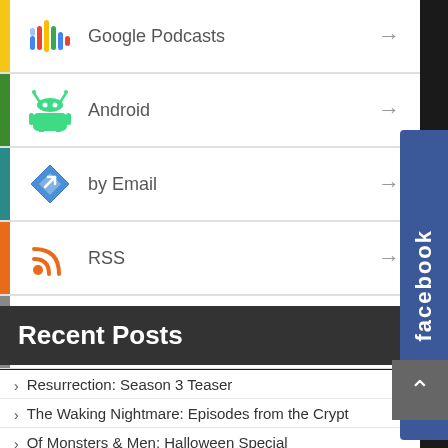Google Podcasts →
Android →
by Email →
RSS →
More Subscribe Options →
Recent Posts
Resurrection: Season 3 Teaser
The Waking Nightmare: Episodes from the Crypt
Of Monsters & Men: Halloween Special